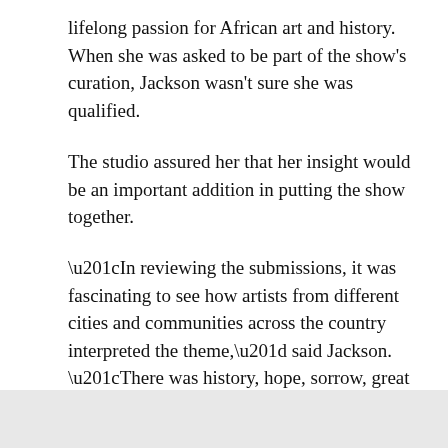lifelong passion for African art and history. When she was asked to be part of the show's curation, Jackson wasn't sure she was qualified.
The studio assured her that her insight would be an important addition in putting the show together.
“In reviewing the submissions, it was fascinating to see how artists from different cities and communities across the country interpreted the theme,” said Jackson. “There was history, hope, sorrow, great feeling, all combining past and present to interpret Juneteenth and Black freedom. This month is personally important because I am a person of African descent — my great grandparents were born just as slavery was abolished, so emancipation is very much a part of my history.”
[Figure (other): Light gray rectangular box at the bottom of the page]